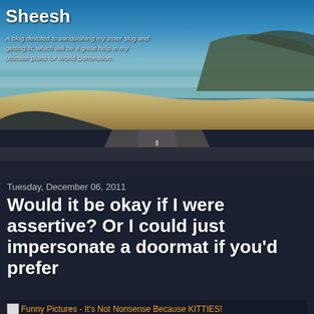[Figure (photo): Coastal landscape with road, beach, ocean, hills and dramatic sky used as blog header background]
Sheesh
A blog devoted to vanquishing my inner slug and getting fit, which will be a great help in my ultimate plans for World Domination.
Tuesday, December 06, 2011
Would it be okay if I were assertive? Or I could just impersonate a doormat if you'd prefer
[Funny Pictures - It's Not Nonsense Because KITTIES!] see more Lolcats and funny pictures, and check out our Socially Awkward Penguin lolz!
Good: Legs not so swollen up, can walk without limping. Still don't know what the heck I did to earn that.
Bad: I don't know if I should even ask a doctor about it.